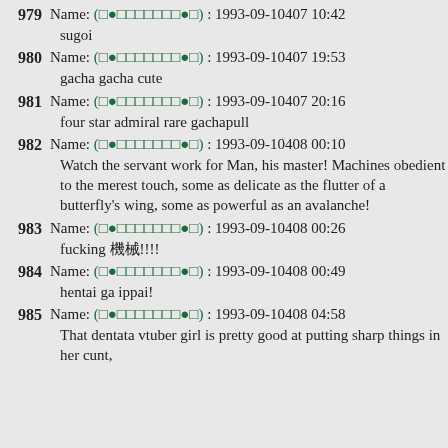979 Name: (●VIPQ2_EXTNUM●) : 1993-09-10407 10:42
 sugoi
980 Name: (●VIPQ2_EXTNUM●) : 1993-09-10407 19:53
 gacha gacha cute
981 Name: (●VIPQ2_EXTNUM●) : 1993-09-10407 20:16
 four star admiral rare gachapull
982 Name: (●VIPQ2_EXTNUM●) : 1993-09-10408 00:10
 Watch the servant work for Man, his master! Machines obedient to the merest touch, some as delicate as the flutter of a butterfly's wing, some as powerful as an avalanche!
983 Name: (●VIPQ2_EXTNUM●) : 1993-09-10408 00:26
 fucking 机械!!!!
984 Name: (●VIPQ2_EXTNUM●) : 1993-09-10408 00:49
 hentai ga ippai!
985 Name: (●VIPQ2_EXTNUM●) : 1993-09-10408 04:58
 That dentata vtuber girl is pretty good at putting sharp things in her cunt,